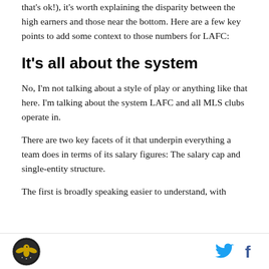that's ok!), it's worth explaining the disparity between the high earners and those near the bottom. Here are a few key points to add some context to those numbers for LAFC:
It's all about the system
No, I'm not talking about a style of play or anything like that here. I'm talking about the system LAFC and all MLS clubs operate in.
There are two key facets of it that underpin everything a team does in terms of its salary figures: The salary cap and single-entity structure.
The first is broadly speaking easier to understand, with